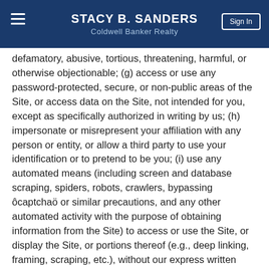STACY B. SANDERS
Coldwell Banker Realty
defamatory, abusive, tortious, threatening, harmful, or otherwise objectionable; (g) access or use any password-protected, secure, or non-public areas of the Site, or access data on the Site, not intended for you, except as specifically authorized in writing by us; (h) impersonate or misrepresent your affiliation with any person or entity, or allow a third party to use your identification or to pretend to be you; (i) use any automated means (including screen and database scraping, spiders, robots, crawlers, bypassing ôcaptchaö or similar precautions, and any other automated activity with the purpose of obtaining information from the Site) to access or use the Site, or display the Site, or portions thereof (e.g., deep linking, framing, scraping, etc.), without our express written permission; (j) attempt to or actually disrupt, impair, or interfere with the Site, or any information, data, or materials posted or displayed by us; (k) attempt to probe, scan, or test the vulnerability of the Site or